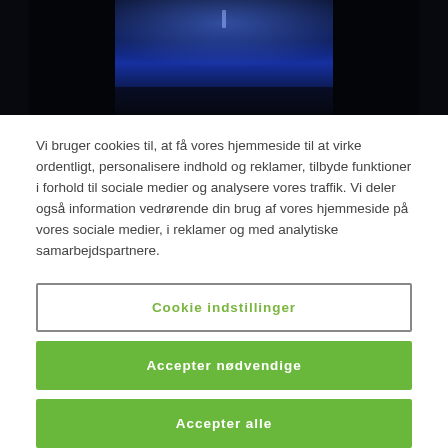[Figure (photo): Dark blue-lit scene, appearing to be a stage or corridor with blue/purple lighting, viewed from the front with a person silhouette visible.]
Vi bruger cookies til, at få vores hjemmeside til at virke ordentligt, personalisere indhold og reklamer, tilbyde funktioner i forhold til sociale medier og analysere vores traffik. Vi deler også information vedrørende din brug af vores hjemmeside på vores sociale medier, i reklamer og med analytiske samarbejdspartnere.
Cookie indstillinger
Accepter nødvendige
Accepter alle